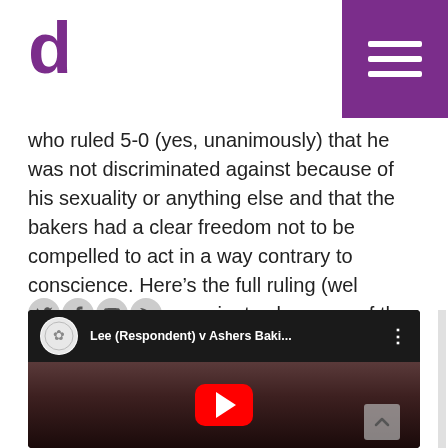d (logo) with hamburger menu
who ruled 5-0 (yes, unanimously) that he was not discriminated against because of his sexuality or anything else and that the bakers had a clear freedom not to be compelled to act in a way contrary to conscience. Here’s the full ruling (well worth 40 or so minutes because of the clarity on the key issues).
[Figure (screenshot): YouTube video embed showing 'Lee (Respondent) v Ashers Baki...' with a woman speaking at a podium, red YouTube play button in center]